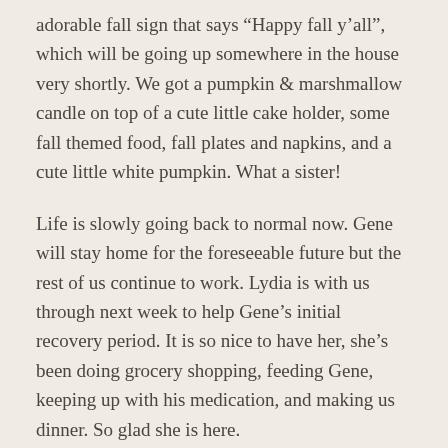adorable fall sign that says “Happy fall y’all”, which will be going up somewhere in the house very shortly. We got a pumpkin & marshmallow candle on top of a cute little cake holder, some fall themed food, fall plates and napkins, and a cute little white pumpkin. What a sister!
Life is slowly going back to normal now. Gene will stay home for the foreseeable future but the rest of us continue to work. Lydia is with us through next week to help Gene’s initial recovery period. It is so nice to have her, she’s been doing grocery shopping, feeding Gene, keeping up with his medication, and making us dinner. So glad she is here.
Hopefully I’m in a place to start posting more often!